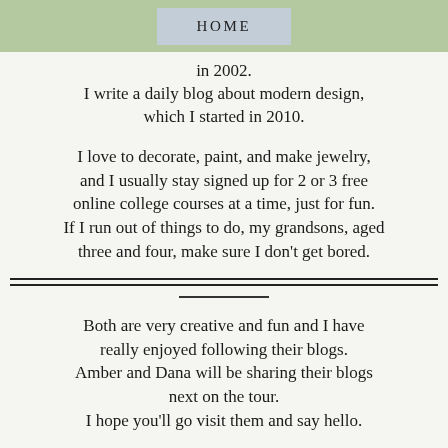HOME
in 2002.
I write a daily blog about modern design, which I started in 2010.
I love to decorate, paint, and make jewelry, and I usually stay signed up for 2 or 3 free online college courses at a time, just for fun. If I run out of things to do, my grandsons, aged three and four, make sure I don't get bored.
Both are very creative and fun and I have really enjoyed following their blogs. Amber and Dana will be sharing their blogs next on the tour. I hope you'll go visit them and say hello.